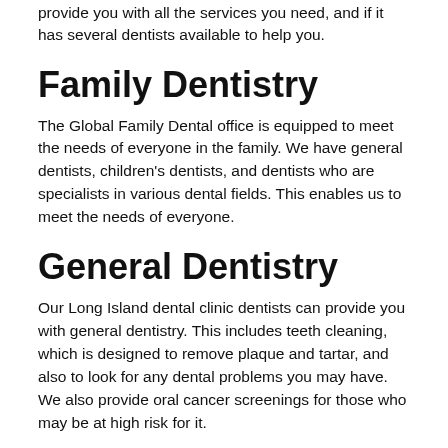provide you with all the services you need, and if it has several dentists available to help you.
Family Dentistry
The Global Family Dental office is equipped to meet the needs of everyone in the family. We have general dentists, children's dentists, and dentists who are specialists in various dental fields. This enables us to meet the needs of everyone.
General Dentistry
Our Long Island dental clinic dentists can provide you with general dentistry. This includes teeth cleaning, which is designed to remove plaque and tartar, and also to look for any dental problems you may have. We also provide oral cancer screenings for those who may be at high risk for it.